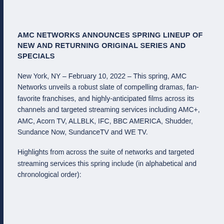AMC NETWORKS ANNOUNCES SPRING LINEUP OF NEW AND RETURNING ORIGINAL SERIES AND SPECIALS
New York, NY – February 10, 2022 – This spring, AMC Networks unveils a robust slate of compelling dramas, fan-favorite franchises, and highly-anticipated films across its channels and targeted streaming services including AMC+, AMC, Acorn TV, ALLBLK, IFC, BBC AMERICA, Shudder, Sundance Now, SundanceTV and WE TV.
Highlights from across the suite of networks and targeted streaming services this spring include (in alphabetical and chronological order):